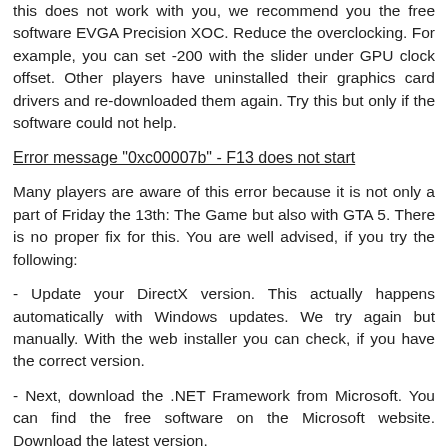this does not work with you, we recommend you the free software EVGA Precision XOC. Reduce the overclocking. For example, you can set -200 with the slider under GPU clock offset. Other players have uninstalled their graphics card drivers and re-downloaded them again. Try this but only if the software could not help.
Error message "0xc00007b" - F13 does not start
Many players are aware of this error because it is not only a part of Friday the 13th: The Game but also with GTA 5. There is no proper fix for this. You are well advised, if you try the following:
- Update your DirectX version. This actually happens automatically with Windows updates. We try again but manually. With the web installer you can check, if you have the correct version.
- Next, download the .NET Framework from Microsoft. You can find the free software on the Microsoft website. Download the latest version.